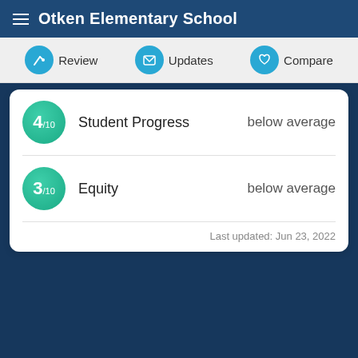Otken Elementary School
Review | Updates | Compare
4/10  Student Progress  below average
3/10  Equity  below average
Last updated: Jun 23, 2022